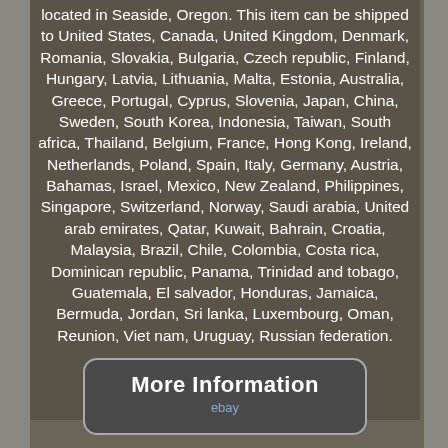located in Seaside, Oregon. This item can be shipped to United States, Canada, United Kingdom, Denmark, Romania, Slovakia, Bulgaria, Czech republic, Finland, Hungary, Latvia, Lithuania, Malta, Estonia, Australia, Greece, Portugal, Cyprus, Slovenia, Japan, China, Sweden, South Korea, Indonesia, Taiwan, South africa, Thailand, Belgium, France, Hong Kong, Ireland, Netherlands, Poland, Spain, Italy, Germany, Austria, Bahamas, Israel, Mexico, New Zealand, Philippines, Singapore, Switzerland, Norway, Saudi arabia, United arab emirates, Qatar, Kuwait, Bahrain, Croatia, Malaysia, Brazil, Chile, Colombia, Costa rica, Dominican republic, Panama, Trinidad and tobago, Guatemala, El salvador, Honduras, Jamaica, Bermuda, Jordan, Sri lanka, Luxembourg, Oman, Reunion, Viet nam, Uruguay, Russian federation.
[Figure (other): A rounded rectangle button with text 'More Information' in white bold font and 'ebay' in blue below it, on a dark grey background.]